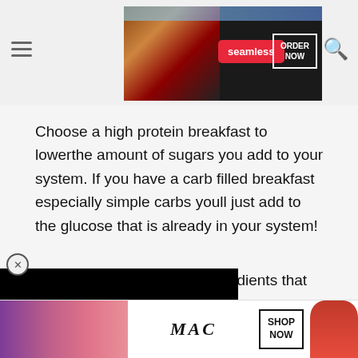[Figure (screenshot): Seamless food delivery advertisement banner with pizza image, red Seamless logo button, and white ORDER NOW button on dark background]
Choose a high protein breakfast to lowerthe amount of sugars you add to your system. If you have a carb filled breakfast especially simple carbs youll just add to the glucose that is already in your system!
Look out for high protein ingredients that you can add to [obscured] as the carbs. For example, you [obscured] your toast instead of jam! You [obscured] focus more on the healthy fats [obscured] will balance out some of the [obscured]st.
All-protein breakfasts that have no carbs at all will be better, though. Think about vegetable omelets or prote[obscured] smoot[obscured] hat your b[obscured] the
[Figure (screenshot): MAC cosmetics advertisement with lipstick images in purple, pink and red colors, MAC logo, and SHOP NOW button]